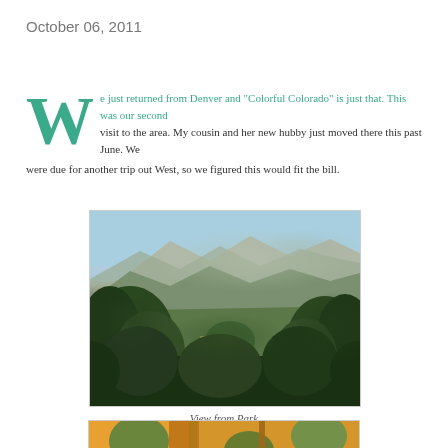October 06, 2011
We just returned from Denver and "Colorful Colorado" is just that. This was our second visit to the area. My cousin and her new hubby just moved there this past June. We were due for another trip out West, so we figured this would fit the bill.
[Figure (photo): A scenic outdoor photo showing a view from a park with lush green trees in the foreground and mountain ranges in the background under a clear blue sky, appearing to be Colorado mountains.]
View from Park
[Figure (photo): Partial view of another photo showing orange and green colors, likely plants or outdoor furniture at a park or garden setting, cropped at the bottom of the page.]